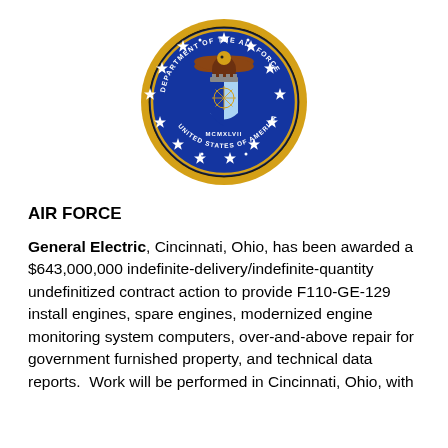[Figure (logo): Department of the Air Force seal — circular emblem with gold outer ring, blue field, eagle at top, Air Force shield in center, stars around the ring, text reading DEPARTMENT OF THE AIR FORCE and UNITED STATES OF AMERICA and MCMXLVII]
AIR FORCE
General Electric, Cincinnati, Ohio, has been awarded a $643,000,000 indefinite-delivery/indefinite-quantity undefinitized contract action to provide F110-GE-129 install engines, spare engines, modernized engine monitoring system computers, over-and-above repair for government furnished property, and technical data reports.  Work will be performed in Cincinnati, Ohio, with